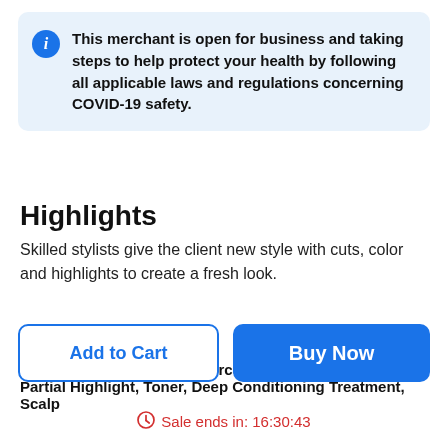This merchant is open for business and taking steps to help protect your health by following all applicable laws and regulations concerning COVID-19 safety.
Highlights
Skilled stylists give the client new style with cuts, color and highlights to create a fresh look.
About This Deal
K18 Hair Treatment with Haircut and Style
Partial Highlight, Toner, Deep Conditioning Treatment, Scalp
Add to Cart
Buy Now
Sale ends in: 16:30:43